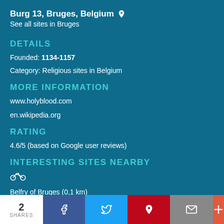Burg 13, Bruges, Belgium
See all sites in Bruges
DETAILS
Founded: 1134-1157
Category: Religious sites in Belgium
MORE INFORMATION
www.holyblood.com
en.wikipedia.org
RATING
4.6/5 (based on Google user reviews)
INTERESTING SITES NEARBY
Belfry of Bruges (0,1 km)
Historic Centre of Brugge (0,2 km)
2 SHARES | Facebook | Twitter | Pinterest | Mail | More